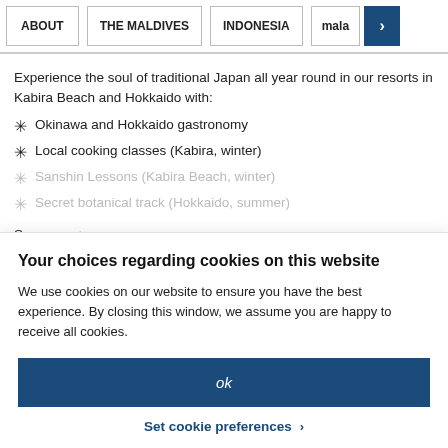ABOUT | THE MALDIVES | INDONESIA | mala >
Experience the soul of traditional Japan all year round in our resorts in Kabira Beach and Hokkaido with:
Okinawa and Hokkaido gastronomy
Local cooking classes (Kabira, winter)
Sanshin Lessons (Kabira Beach, winter)
Secret botanical track (Hokkaido, summer)
See more +
Your choices regarding cookies on this website
We use cookies on our website to ensure you have the best experience. By closing this window, we assume you are happy to receive all cookies.
ok
Set cookie preferences >